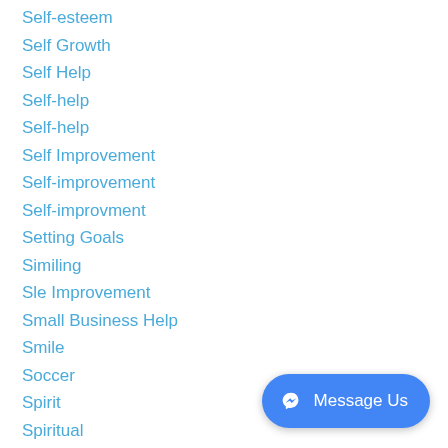Self-esteem
Self Growth
Self Help
Self-help
Self-help
Self Improvement
Self-improvement
Self-improvment
Setting Goals
Similing
Sle Improvement
Small Business Help
Smile
Soccer
Spirit
Spiritual
Spirituality
Sports
Stop Waiting On Your Life
Strategy
Stress Relief